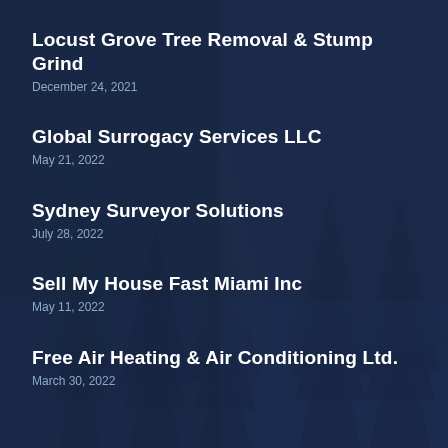[Figure (illustration): Dark navy blue background with silhouettes of tall pine/fir trees creating a misty forest scene]
Locust Grove Tree Removal & Stump Grind
December 24, 2021
Global Surrogacy Services LLC
May 21, 2022
Sydney Surveyor Solutions
July 28, 2022
Sell My House Fast Miami Inc
May 11, 2022
Free Air Heating & Air Conditioning Ltd.
March 30, 2022